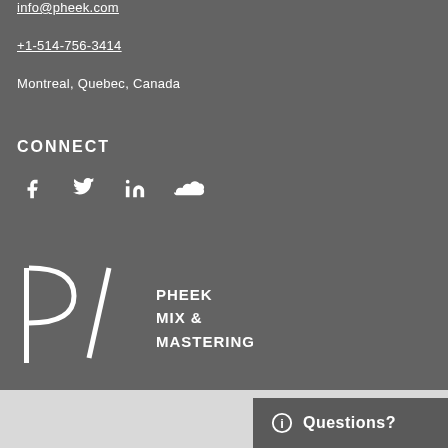info@pheek.com
+1-514-756-3414
Montreal, Quebec, Canada
CONNECT
[Figure (illustration): Social media icons: Facebook, Twitter, LinkedIn, SoundCloud]
[Figure (logo): Pheek Mix & Mastering logo with stylized P/ mark and text]
Questions?